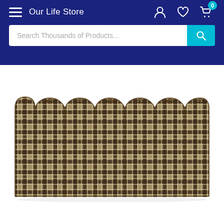Our Life Store
Search Thousands of Products...
[Figure (photo): A brown and dark plaid fabric window valance with tab/rod pocket top, displayed flat showing pleated/scalloped top edge and plaid pattern in brown, dark brown/black, and cream/tan colors.]